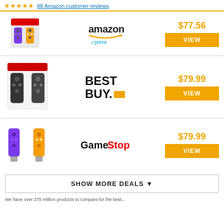★★★★★ 88 Amazon customer reviews
[Figure (other): Nintendo Switch Joy-Con controllers purple/yellow boxed product image, Amazon listing]
[Figure (logo): Amazon logo with prime badge]
$77.56
VIEW
[Figure (other): Nintendo Switch Joy-Con gray controllers boxed product image, Best Buy listing]
[Figure (logo): Best Buy logo]
$79.99
VIEW
[Figure (other): Nintendo Switch Joy-Con controllers purple/yellow unboxed, GameStop listing]
[Figure (logo): GameStop logo]
$79.99
VIEW
SHOW MORE DEALS ▼
We have over 375 million products to compare for the best...